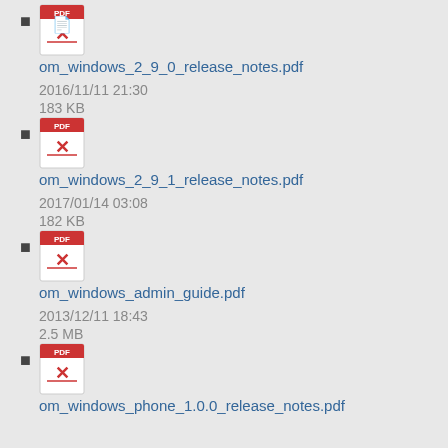om_windows_2_9_0_release_notes.pdf
2016/11/11 21:30
183 KB
om_windows_2_9_1_release_notes.pdf
2017/01/14 03:08
182 KB
om_windows_admin_guide.pdf
2013/12/11 18:43
2.5 MB
om_windows_phone_1.0.0_release_notes.pdf